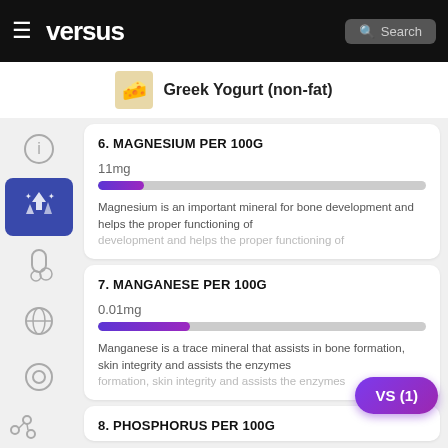versus — Greek Yogurt (non-fat)
6. MAGNESIUM PER 100G
11mg
Magnesium is an important mineral for bone development and helps the proper functioning of
7. MANGANESE PER 100G
0.01mg
Manganese is a trace mineral that assists in bone formation, skin integrity and assists the enzymes
8. PHOSPHORUS PER 100G